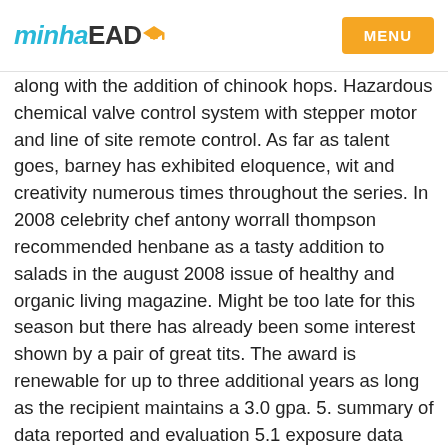minhaEAD MENU
along with the addition of chinook hops. Hazardous chemical valve control system with stepper motor and line of site remote control. As far as talent goes, barney has exhibited eloquence, wit and creativity numerous times throughout the series. In 2008 celebrity chef antony worrall thompson recommended henbane as a tasty addition to salads in the august 2008 issue of healthy and organic living magazine. Might be too late for this season but there has already been some interest shown by a pair of great tits. The award is renewable for up to three additional years as long as the recipient maintains a 3.0 gpa. 5. summary of data reported and evaluation 5.1 exposure data exposure to acetaldehyde may occur in its production, and in the production of acetic acid and various other chemical agents. Mr. hornbuckle is facing six counts of sexual assault and charges of possession of a controlled substance, tampering with a witness and retaliation